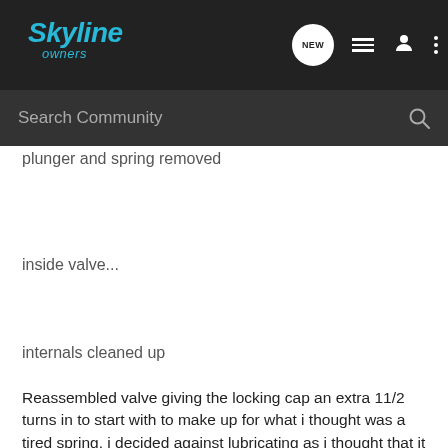Skyline owners — navigation bar with NEW, list, user, and more icons
Search Community
plunger and spring removed
inside valve...
internals cleaned up
Reassembled valve giving the locking cap an extra 11/2 turns in to start with to make up for what i thought was a tired spring, i decided against lubricating as i thought that it would make it